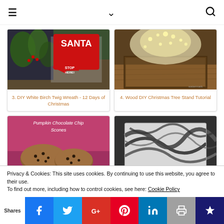≡ ∨ 🔍
[Figure (photo): DIY White Birch Twig Wreath with Santa Stop Here sign, Christmas greenery]
3. DIY White Birch Twig Wreath - 12 Days of Christmas
[Figure (photo): Wood DIY Christmas Tree Stand with fairy lights glowing on top]
4. Wood DIY Christmas Tree Stand Tutorial
[Figure (photo): Pumpkin Chocolate Chip Scones on pink background]
[Figure (photo): Marbled soap or craft item with black and white swirl pattern]
Privacy & Cookies: This site uses cookies. By continuing to use this website, you agree to their use.
To find out more, including how to control cookies, see here: Cookie Policy
Shares | Facebook | Twitter | Google+ | Pinterest | LinkedIn | Print | Crown